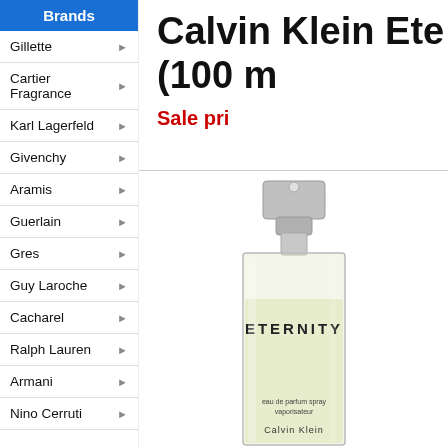Brands
Gillette
Cartier Fragrance
Karl Lagerfeld
Givenchy
Aramis
Guerlain
Gres
Guy Laroche
Cacharel
Ralph Lauren
Armani
Nino Cerruti
Calvin Klein Ete… (100 m…
Sale pri…
[Figure (photo): Calvin Klein Eternity Eau de Parfum Spray (vaporisateur) bottle, 100ml, showing a tall rectangular bottle with silver cap, light yellow liquid, labeled ETERNITY, with Calvin Klein branding.]